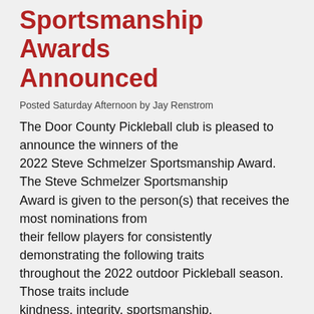Sportsmanship Awards Announced
Posted Saturday Afternoon by Jay Renstrom
The Door County Pickleball club is pleased to announce the winners of the 2022 Steve Schmelzer Sportsmanship Award. The Steve Schmelzer Sportsmanship Award is given to the person(s) that receives the most nominations from their fellow players for consistently demonstrating the following traits throughout the 2022 outdoor Pickleball season. Those traits include kindness, integrity, sportsmanship, encouragement, positive attitude, teamwork, and inclusiveness.
The co-winners of the Steve Schmelzer Sportsmanship Award for 2022 are: